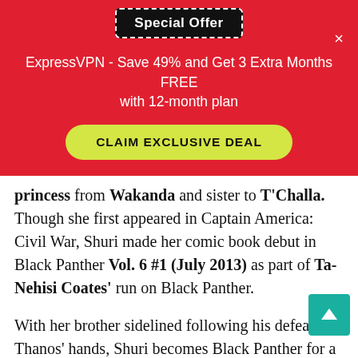[Figure (screenshot): Red promotional banner for ExpressVPN with a 'Special Offer' pill label in a dashed border, close X button, promotional text, and a yellow 'CLAIM EXCLUSIVE DEAL' button.]
princess from Wakanda and sister to T'Challa. Though she first appeared in Captain America: Civil War, Shuri made her comic book debut in Black Panther Vol. 6 #1 (July 2013) as part of Ta-Nehisi Coates' run on Black Panther.
With her brother sidelined following his defeat at Thanos' hands, Shuri becomes Black Panther for a time. In Black Panther Vol. 7 #1 (October 2018), she even claims to be Queen Regent until her brother returns—and since her country is a female monarchy, it seems she